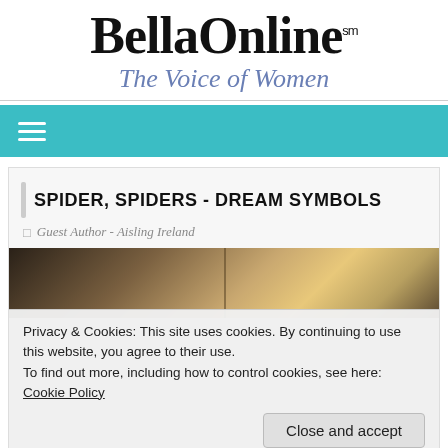BellaOnline℠ The Voice of Women
[Figure (screenshot): BellaOnline website navigation bar with teal/turquoise background and hamburger menu icon]
SPIDER, SPIDERS - DREAM SYMBOLS
Guest Author - Aisling Ireland
[Figure (photo): Partial photo strip showing warm golden/brown tones, likely a woman's image partially visible]
Privacy & Cookies: This site uses cookies. By continuing to use this website, you agree to their use.
To find out more, including how to control cookies, see here: Cookie Policy
[Figure (photo): Bottom partial photo strip showing a woman's hair/face in brown tones]